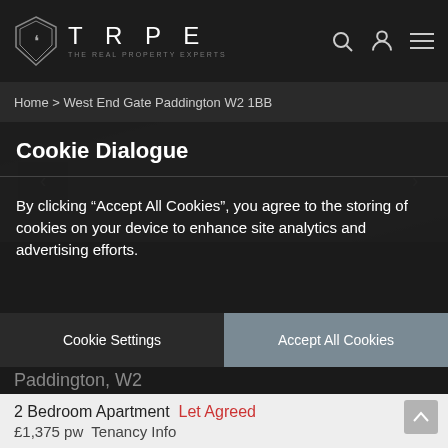TRPE THE REAL PROPERTY EXPERTS
Home > West End Gate Paddington W2 1BB
[Figure (screenshot): Blurred property image background showing a building facade]
Cookie Dialogue
By clicking “Accept All Cookies”, you agree to the storing of cookies on your device to enhance site analytics and advertising efforts.
Cookie Settings
Accept All Cookies
Paddington, W2
2 Bedroom Apartment  Let Agreed
£1,375 pw  Tenancy Info